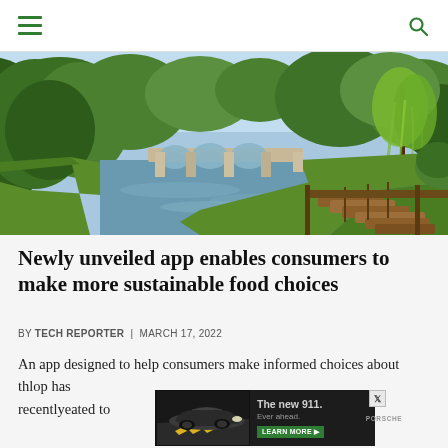Navigation bar with hamburger menu and search icon
[Figure (photo): River scene with stone arch bridge, green trees and weeping willows, punts moored on the right bank, blue sky — Cambridge River Cam]
Newly unveiled app enables consumers to make more sustainable food choices
BY TECH REPORTER  |  MARCH 17, 2022
An app designed to help consumers make informed choices about th... lop has recently... eated to
[Figure (screenshot): Advertisement for Porsche 'The new 911. Ever ahead.' with a dark car image, text, LEARN MORE button, Porsche logo, and a close X icon]